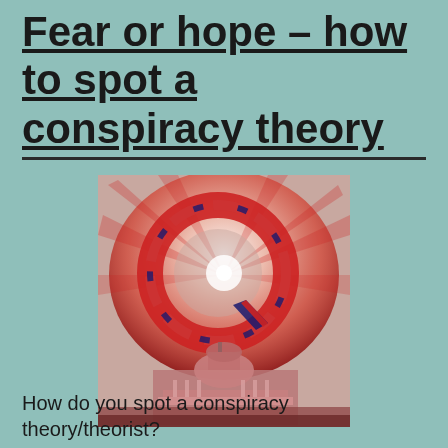Fear or hope – how to spot a conspiracy theory
[Figure (illustration): Artistic illustration of a large stylized letter Q in red, white, and blue colors with radiating light effect, overlaid on top of the US Capitol building, with a dramatic red and white swirling sky background. Associated with QAnon conspiracy imagery.]
How do you spot a conspiracy theory/theorist?